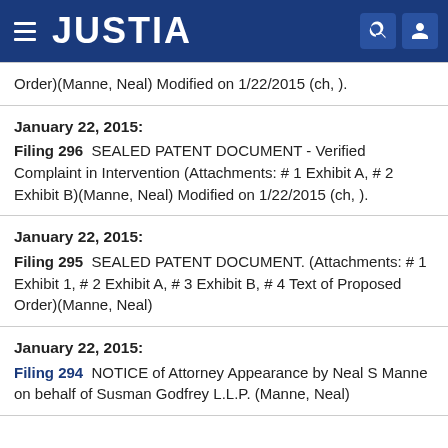JUSTIA
Order)(Manne, Neal) Modified on 1/22/2015 (ch, ).
January 22, 2015:
Filing 296  SEALED PATENT DOCUMENT - Verified Complaint in Intervention (Attachments: # 1 Exhibit A, # 2 Exhibit B)(Manne, Neal) Modified on 1/22/2015 (ch, ).
January 22, 2015:
Filing 295  SEALED PATENT DOCUMENT. (Attachments: # 1 Exhibit 1, # 2 Exhibit A, # 3 Exhibit B, # 4 Text of Proposed Order)(Manne, Neal)
January 22, 2015:
Filing 294  NOTICE of Attorney Appearance by Neal S Manne on behalf of Susman Godfrey L.L.P. (Manne, Neal)